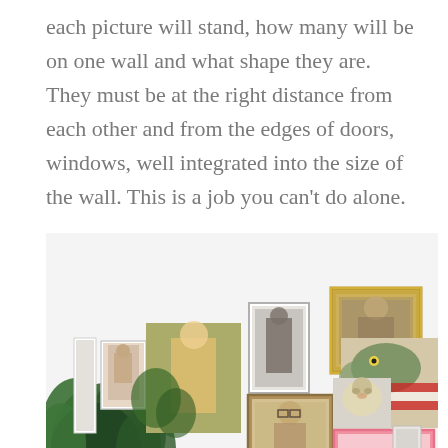each picture will stand, how many will be on one wall and what shape they are. They must be at the right distance from each other and from the edges of doors, windows, well integrated into the size of the wall. This is a job you can't do alone.
[Figure (photo): A gallery wall arrangement on a white wall showing multiple framed artworks and photographs: a small portrait of a woman in casual clothes, a large tropical photo of a blonde woman, a tall dark-framed portrait of a man in black and white, a gold ornate-framed painting of a woman, a brown-framed portrait of a man with glasses, a canvas painting of a dinosaur (raptor) with American flag stripes, a small canvas of a dog, a pink-framed photo of two people, and a tiny print. A large leafy green plant is in the lower left foreground.]